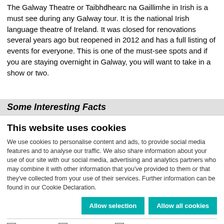The Galway Theatre or Taibhdhearc na Gaillimhe in Irish is a must see during any Galway tour. It is the national Irish language theatre of Ireland. It was closed for renovations several years ago but reopened in 2012 and has a full listing of events for everyone. This is one of the must-see spots and if you are staying overnight in Galway, you will want to take in a show or two.
Some Interesting Facts
This website uses cookies
We use cookies to personalise content and ads, to provide social media features and to analyse our traffic. We also share information about your use of our site with our social media, advertising and analytics partners who may combine it with other information that you've provided to them or that they've collected from your use of their services. Further information can be found in our Cookie Declaration.